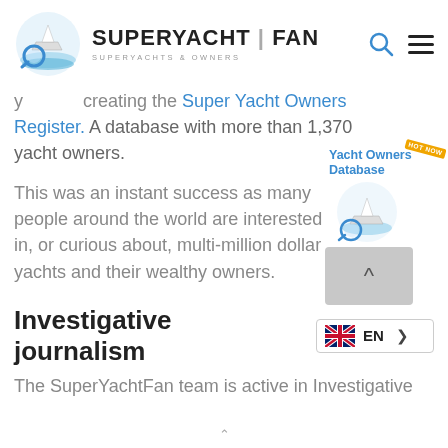[Figure (logo): SuperYachtFan logo with yacht/magnifier icon and text 'SUPERYACHT | FAN SUPERYACHTS & OWNERS']
...creating the Super Yacht Owners Register. A database with more than 1,370 yacht owners.
[Figure (infographic): Yacht Owners Database widget with HOT NOW badge, yacht icon, and scroll-up button]
This was an instant success as many people around the world are interested in, or curious about, multi-million dollar yachts and their wealthy owners.
Investigative journalism
The SuperYachtFan team is active in Investigative